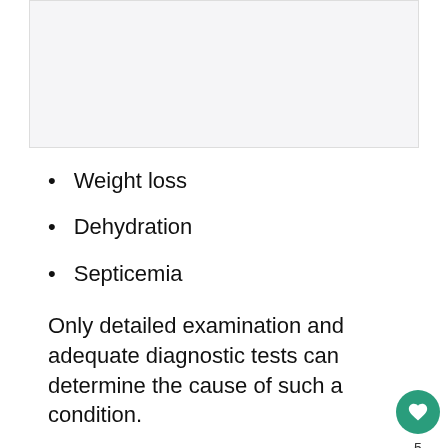[Figure (other): Top image area (partially visible, light gray background)]
Weight loss
Dehydration
Septicemia
Only detailed examination and adequate diagnostic tests can determine the cause of such a condition.
Unfortunately, all these accidents and problems happen more often in lizards held in